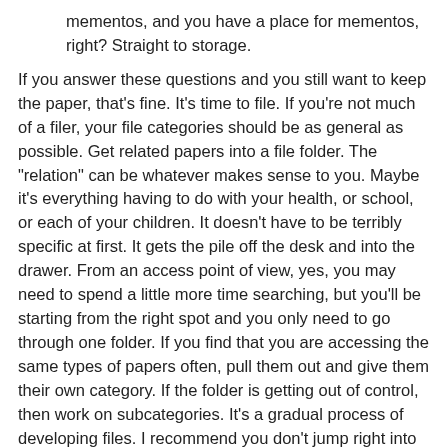mementos, and you have a place for mementos, right? Straight to storage.
If you answer these questions and you still want to keep the paper, that's fine. It's time to file. If you're not much of a filer, your file categories should be as general as possible. Get related papers into a file folder. The "relation" can be whatever makes sense to you. Maybe it's everything having to do with your health, or school, or each of your children. It doesn't have to be terribly specific at first. It gets the pile off the desk and into the drawer. From an access point of view, yes, you may need to spend a little more time searching, but you'll be starting from the right spot and you only need to go through one folder. If you find that you are accessing the same types of papers often, pull them out and give them their own category. If the folder is getting out of control, then work on subcategories. It's a gradual process of developing files. I recommend you don't jump right into specific subcategories if you've never had a filing system. Trust me on this one. You will end up with many, many folders that each have one or two pieces of paper in them.